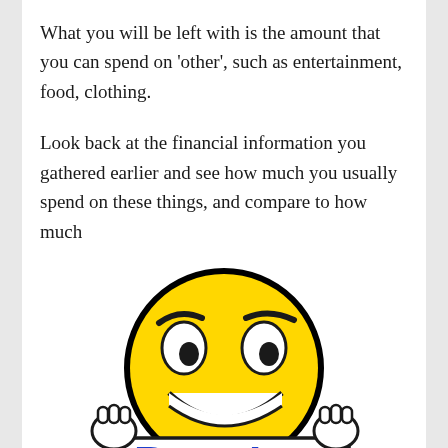What you will be left with is the amount that you can spend on ‘other’, such as entertainment, food, clothing.
Look back at the financial information you gathered earlier and see how much you usually spend on these things, and compare to how much
[Figure (illustration): A yellow smiley face emoji character with raised eyebrows and a big grin, holding up a sign with blue text (partially visible at the bottom of the page). The character has large white eyes with black pupils, a wide smile showing white teeth, and cartoon hands gripping the sign.]